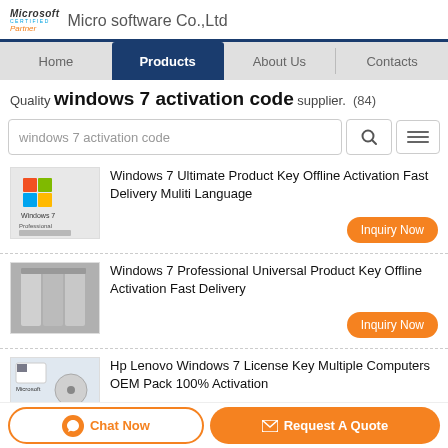Microsoft Certified Partner   Micro software Co.,Ltd
Home | Products | About Us | Contacts
Quality windows 7 activation code supplier. (84)
windows 7 activation code
Windows 7 Ultimate Product Key Offline Activation Fast Delivery Muliti Language
Windows 7 Professional Universal Product Key Offline Activation Fast Delivery
Hp Lenovo Windows 7 License Key Multiple Computers OEM Pack 100% Activation
Chat Now   Request A Quote